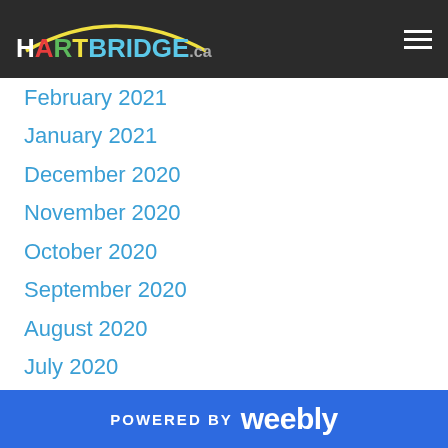HARTBRIDGE.ca
February 2021
January 2021
December 2020
November 2020
October 2020
September 2020
August 2020
July 2020
June 2020
May 2020
April 2020
March 2020
February 2020
January 2020
December 2019
POWERED BY weebly